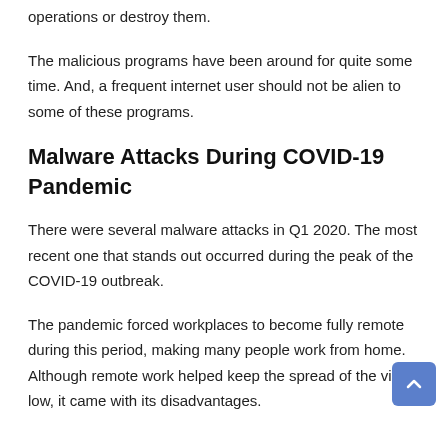operations or destroy them.
The malicious programs have been around for quite some time. And, a frequent internet user should not be alien to some of these programs.
Malware Attacks During COVID-19 Pandemic
There were several malware attacks in Q1 2020. The most recent one that stands out occurred during the peak of the COVID-19 outbreak.
The pandemic forced workplaces to become fully remote during this period, making many people work from home. Although remote work helped keep the spread of the virus low, it came with its disadvantages.